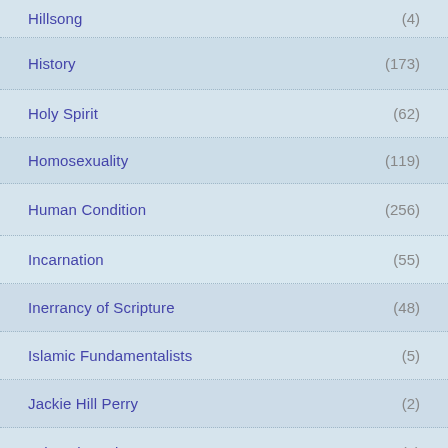Hillsong (4)
History (173)
Holy Spirit (62)
Homosexuality (119)
Human Condition (256)
Incarnation (55)
Inerrancy of Scripture (48)
Islamic Fundamentalists (5)
Jackie Hill Perry (2)
Jehovah's Witnesses (4)